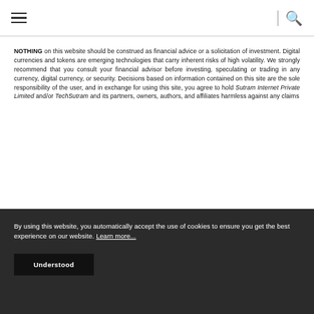Navigation bar with hamburger menu and search icon
NOTHING on this website should be construed as financial advice or a solicitation of investment. Digital currencies and tokens are emerging technologies that carry inherent risks of high volatility. We strongly recommend that you consult your financial advisor before investing, speculating or trading in any currency, digital currency, or security. Decisions based on information contained on this site are the sole responsibility of the user, and in exchange for using this site, you agree to hold Sutram Internet Private Limited and/or TechSutram and its partners, owners, authors, and affiliates harmless against any claims
By using this website, you automatically accept the use of cookies to ensure you get the best experience on our website. Learn more...
Understood